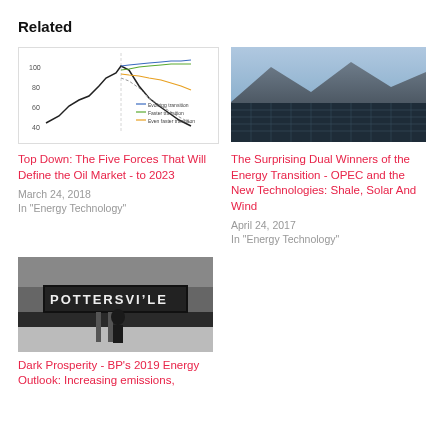Related
[Figure (line-chart): Line chart showing multiple transition scenarios (Evolving transition, Faster transition, Even faster transition) with values around 40-110 range, with a vertical divider and declining black line]
[Figure (photo): Aerial photograph of a large solar panel field with mountains in the background]
Top Down: The Five Forces That Will Define the Oil Market - to 2023
March 24, 2018
In "Energy Technology"
The Surprising Dual Winners of the Energy Transition - OPEC and the New Technologies: Shale, Solar And Wind
April 24, 2017
In "Energy Technology"
[Figure (photo): Black and white photograph of a Pottersville sign with a person standing near it in snowy conditions]
Dark Prosperity - BP's 2019 Energy Outlook: Increasing emissions,